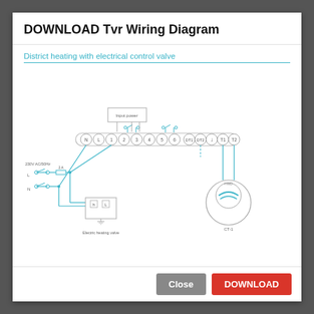DOWNLOAD Tvr Wiring Diagram
District heating with electrical control valve
[Figure (schematic): Wiring diagram for district heating with electrical control valve. Shows terminal blocks labeled N, L, 1, 2, 3, 4, 5, 6, DT1, DT2, arrow, T1, T2. Includes power input box, fuse/switch components on left side with 230V AC/50Hz label, L and N labels, a 2A fuse, an 'Electric heating valve' component box at bottom left with h and L terminals, and a circular valve actuator device on the right side labeled 'CT-1'. Wiring shown in light blue connecting the components.]